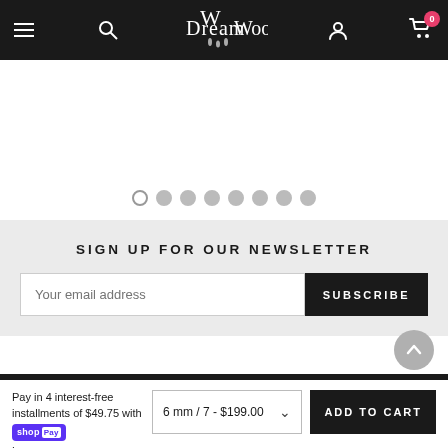DreamWood - navigation header with hamburger menu, search, logo, account, and cart (0 items)
[Figure (screenshot): Carousel image placeholder area with 8 pagination dots below, first dot active (outlined), rest filled gray]
SIGN UP FOR OUR NEWSLETTER
Your email address [input field] SUBSCRIBE [button]
Pay in 4 interest-free installments of $49.75 with Shop Pay Learn more
6 mm / 7 - $199.00
ADD TO CART